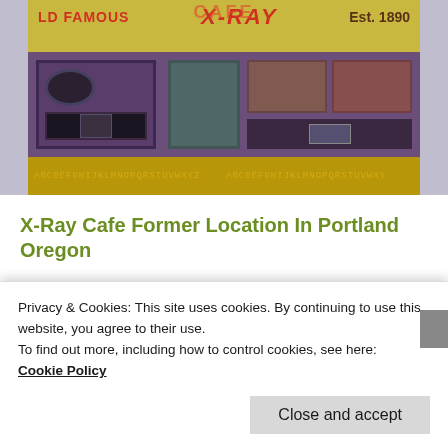[Figure (photo): Photo of the exterior facade of the X-Ray Cafe former location in Portland Oregon. Shows a colorful vintage storefront with yellow/green sign reading 'X-Ray Cafe', 'World Famous', 'Est. 1890', purple/dark painted walls with windows and panels, and an alphabet strip along the bottom.]
X-Ray Cafe Former Location In Portland Oregon
0 comments, click here to add yours
Privacy & Cookies: This site uses cookies. By continuing to use this website, you agree to their use.
To find out more, including how to control cookies, see here:
Cookie Policy
Close and accept